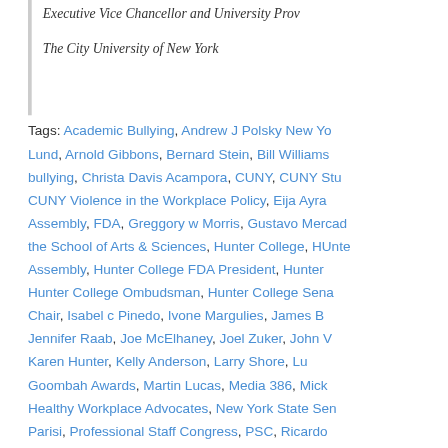Executive Vice Chancellor and University Provost
The City University of New York
Tags: Academic Bullying, Andrew J Polsky New York, Lund, Arnold Gibbons, Bernard Stein, Bill Williams, bullying, Christa Davis Acampora, CUNY, CUNY Stu, CUNY Violence in the Workplace Policy, Eija Ayra, Assembly, FDA, Greggory w Morris, Gustavo Mercad, the School of Arts & Sciences, Hunter College, HUnte, Assembly, Hunter College FDA President, Hunter, Hunter College Ombudsman, Hunter College Sena, Chair, Isabel c Pinedo, Ivone Margulies, James B, Jennifer Raab, Joe McElhaney, Joel Zuker, John, Karen Hunter, Kelly Anderson, Larry Shore, Lu, Goombah Awards, Martin Lucas, Media 386, Mick, Healthy Workplace Advocates, New York State Se, Parisi, Professional Staff Congress, PSC, Ricardo, S3863/A4965 – The NYS Healthy Workplace Bill, McCarthy, Sissell McCarthy, Steve Gorelick, Stuart E, Jackson Who Signed the Moveon.org Petition, T, Portlock, Tony Doyle, Vita C. Rabinowitz, Vita Rabino
This entry was posted on Saturday, May 12th, 2018 at Academic Bullying, Blogroll, Dogfighting in the Departm, Moment, It Was One of Those Semesters, It's Been On